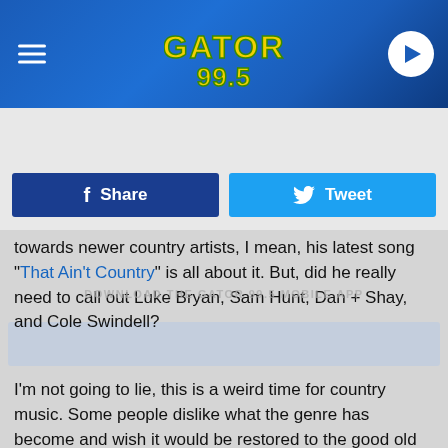[Figure (logo): Gator 99.5 radio station logo in yellow and green on blue background header with hamburger menu icon on left and play button circle on right]
LISTEN NOW ▶  DRIVE AT 5 WITH YOUR BUDDY RUSS
[Figure (infographic): Facebook Share button (dark blue) and Twitter Tweet button (light blue) side by side]
towards newer country artists, I mean, his latest song "That Ain't Country" is all about it. But, did he really need to call out Luke Bryan, Sam Hunt, Dan + Shay, and Cole Swindell?
DOWNLOAD THE GATOR 99.5 MOBILE APP
I'm not going to lie, this is a weird time for country music. Some people dislike what the genre has become and wish it would be restored to the good old classic country days, while other people are all about "bro-country".
Personally, I like it all. Classic country is where the roots of country music came from, but as with most things in life, things change. Change isn't bad, sometimes change is